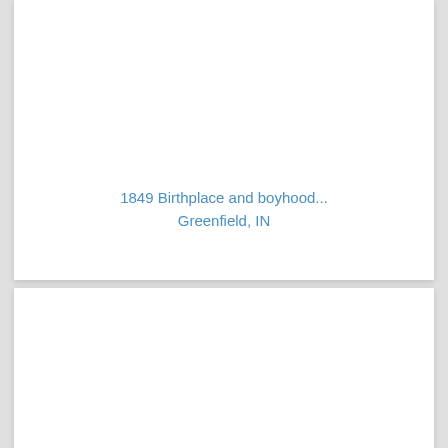1849 Birthplace and boyhood... Greenfield, IN